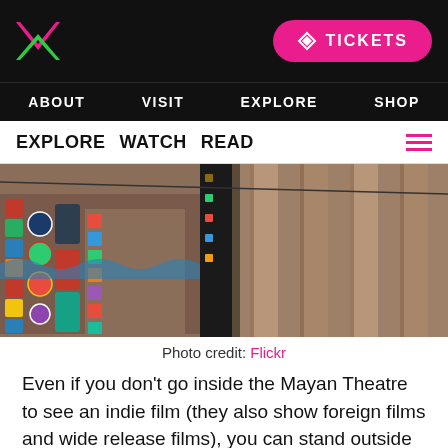ABOUT  VISIT  EXPLORE  SHOP  TICKETS
EXPLORE  WATCH  READ
[Figure (photo): Exterior of the Mayan Theatre showing ornate Mayan-revival architectural details and decorative tile work on a red sandstone facade with tall columns]
Photo credit: Flickr
Even if you don't go inside the Mayan Theatre to see an indie film (they also show foreign films and wide release films), you can stand outside and appreciate the unique architecture. If you do